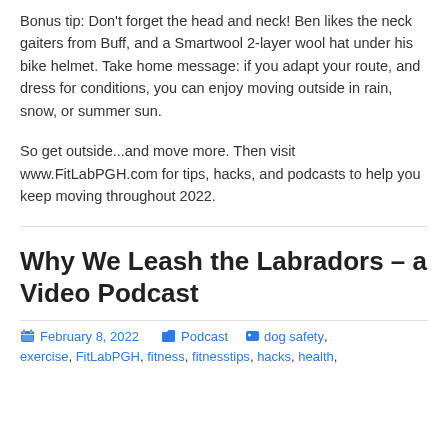Bonus tip: Don't forget the head and neck! Ben likes the neck gaiters from Buff, and a Smartwool 2-layer wool hat under his bike helmet. Take home message: if you adapt your route, and dress for conditions, you can enjoy moving outside in rain, snow, or summer sun.
So get outside...and move more. Then visit www.FitLabPGH.com for tips, hacks, and podcasts to help you keep moving throughout 2022.
Why We Leash the Labradors – a Video Podcast
February 8, 2022   Podcast   dog safety, exercise, FitLabPGH, fitness, fitnesstips, hacks, health,